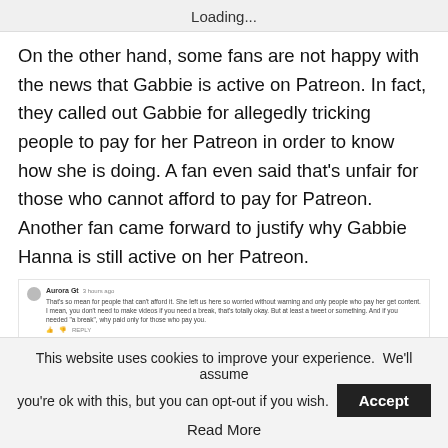Loading...
On the other hand, some fans are not happy with the news that Gabbie is active on Patreon. In fact, they called out Gabbie for allegedly tricking people to pay for her Patreon in order to know how she is doing. A fan even said that's unfair for those who cannot afford to pay for Patreon. Another fan came forward to justify why Gabbie Hanna is still active on her Patreon.
[Figure (screenshot): Screenshot of two social media comments discussing Gabbie Hanna's Patreon activity. First commenter (Aurora Gt) criticizes that she left without warning and only paying fans get content. Second commenter (Calista Jara) defends Gabbie, explaining she is using Patreon to heal and recuperate surrounded by supportive fans.]
This website uses cookies to improve your experience. We'll assume you're ok with this, but you can opt-out if you wish. Accept Read More